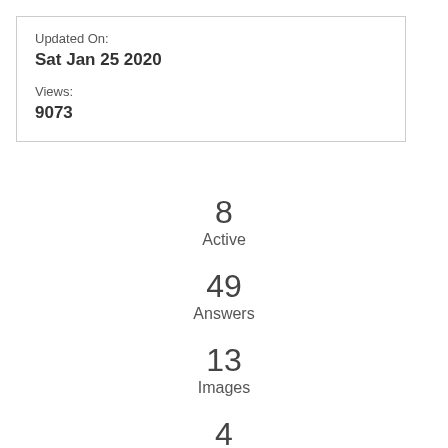Updated On:
Sat Jan 25 2020
Views:
9073
8
Active
49
Answers
13
Images
4
Users